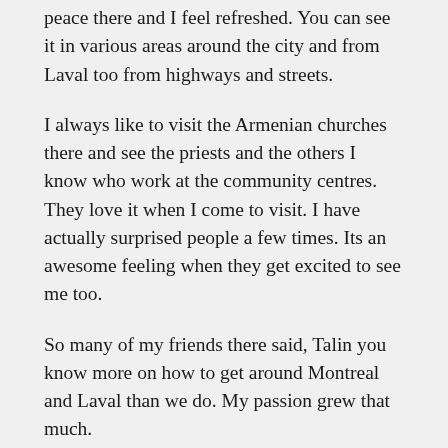peace there and I feel refreshed. You can see it in various areas around the city and from Laval too from highways and streets.
I always like to visit the Armenian churches there and see the priests and the others I know who work at the community centres. They love it when I come to visit. I have actually surprised people a few times. Its an awesome feeling when they get excited to see me too.
So many of my friends there said, Talin you know more on how to get around Montreal and Laval than we do. My passion grew that much.
In around 2006 to 2009, I had made Facebook friends from Montreal and Laval areas. So, I began to expand my connections in Montreal even further. I met many new friends and know so many people there now. I remember going to Armenian festivals and other